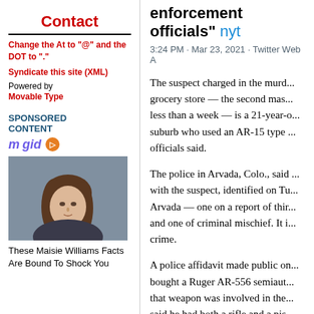Contact
Change the At to "@" and the DOT to "."
Syndicate this site (XML)
Powered by Movable Type
SPONSORED CONTENT
mgid ▷
[Figure (photo): Portrait photo of a young woman with long brown hair, used in advertisement]
These Maisie Williams Facts Are Bound To Shock You
enforcement officials" nyt
3:24 PM · Mar 23, 2021 · Twitter Web A
The suspect charged in the murder at a grocery store — the second mass shooting in less than a week — is a 21-year-old from a suburb who used an AR-15 type weapon, officials said.
The police in Arvada, Colo., said they had contact with the suspect, identified on Tu... Arvada — one on a report of thr... and one of criminal mischief. It is... crime.
A police affidavit made public on... bought a Ruger AR-556 semiaut... that weapon was involved in the... said he had both a rifle and a pis...